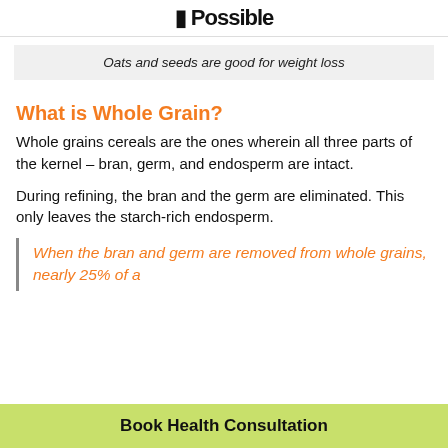Possible
Oats and seeds are good for weight loss
What is Whole Grain?
Whole grains cereals are the ones wherein all three parts of the kernel – bran, germ, and endosperm are intact.
During refining, the bran and the germ are eliminated. This only leaves the starch-rich endosperm.
When the bran and germ are removed from whole grains, nearly 25% of a
Book Health Consultation